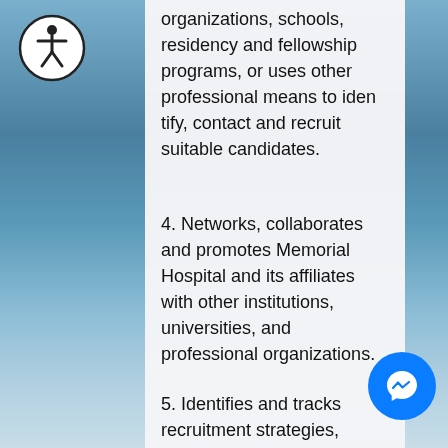organizations, schools, residency and fellowship programs, or uses other professional means to identify, contact and recruit suitable candidates.
4. Networks, collaborates and promotes Memorial Hospital and its affiliates with other institutions, universities, and professional organizations.
5. Identifies and tracks recruitment strategies, successes, initiatives and trends.
6. Generates reports for